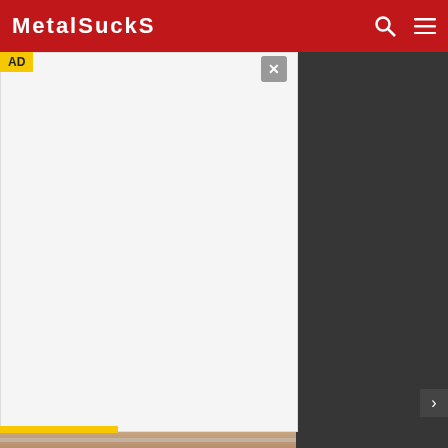MetalSucks
[Figure (screenshot): Advertisement overlay on top of a news video thumbnail. Left side shows a white ad panel with 'AD' label in yellow and an X close button. Right side shows a dark gray panel. Below is a partial video frame showing a close-up of a person's neck/chin area with a TV channel 3 logo.]
[via Blabbermouth]
TAGS: CHURCH BURNINGS, HOLDEN MATTHEWS
[Figure (screenshot): Bottom advertisement banner for Conan band album 'evidence of immortality' with 'OUT NOW!' text on dark background.]
Spon...